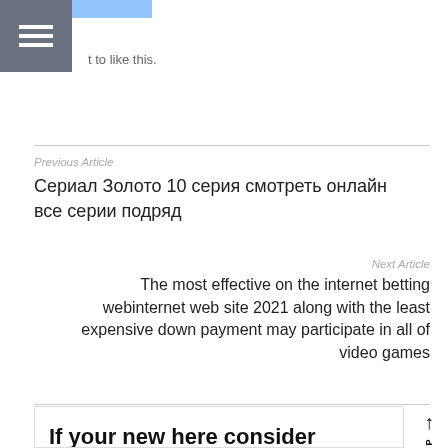[Figure (screenshot): Hamburger menu button (three white horizontal lines on grey background)]
t to like this.
Previous Article
Сериал Золото 10 серия смотреть онлайн все серии подряд
Next Article
The most effective on the internet betting webinternet web site 2021 along with the least expensive down payment may participate in all of video games
↑ BACK TO TOP
If your new here consider subscribing!